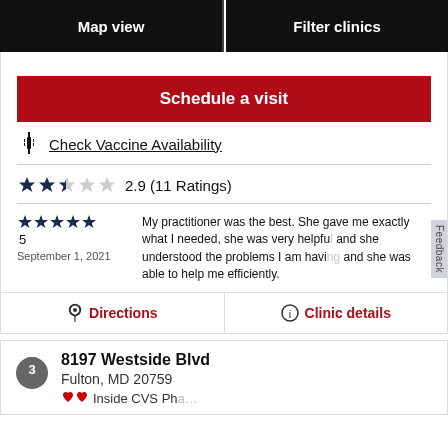Map view | Filter clinics
Schedule a visit
Check Vaccine Availability
2.9 (11 Ratings)
5
September 1, 2021
My practitioner was the best. She gave me exactly what I needed, she was very helpful and she understood the problems I am having and she was able to help me efficiently.
Directions | Clinic details
8197 Westside Blvd
Fulton, MD 20759
Inside CVS Pharmacy